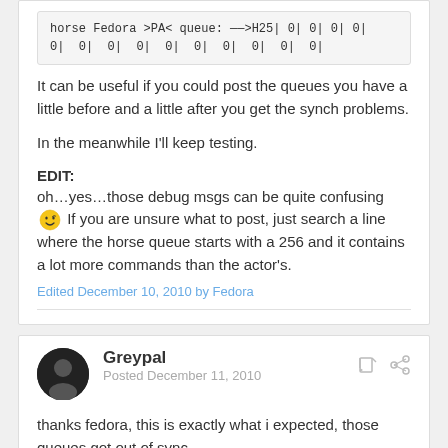horse Fedora >PA< queue: ——>H25| 0| 0| 0| 0| 0| 0| 0| 0| 0| 0| 0| 0| 0| 0| 0| 0| 0| 0|
It can be useful if you could post the queues you have a little before and a little after you get the synch problems.
In the meanwhile I'll keep testing.
EDIT:
oh…yes…those debug msgs can be quite confusing 😉 If you are unsure what to post, just search a line where the horse queue starts with a 256 and it contains a lot more commands than the actor's.
Edited December 10, 2010 by Fedora
Greypal
Posted December 11, 2010
thanks fedora, this is exactly what i expected, those queues got out of sync.